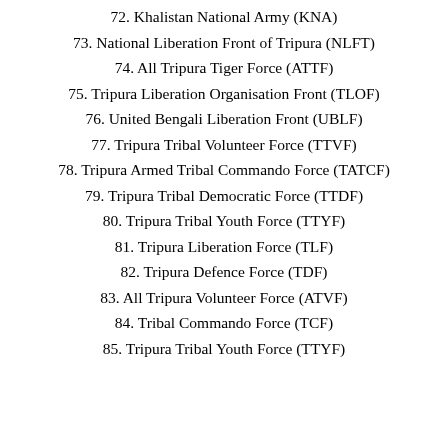72. Khalistan National Army (KNA)
73. National Liberation Front of Tripura (NLFT)
74. All Tripura Tiger Force (ATTF)
75. Tripura Liberation Organisation Front (TLOF)
76. United Bengali Liberation Front (UBLF)
77. Tripura Tribal Volunteer Force (TTVF)
78. Tripura Armed Tribal Commando Force (TATCF)
79. Tripura Tribal Democratic Force (TTDF)
80. Tripura Tribal Youth Force (TTYF)
81. Tripura Liberation Force (TLF)
82. Tripura Defence Force (TDF)
83. All Tripura Volunteer Force (ATVF)
84. Tribal Commando Force (TCF)
85. Tripura Tribal Youth Force (TTYF)